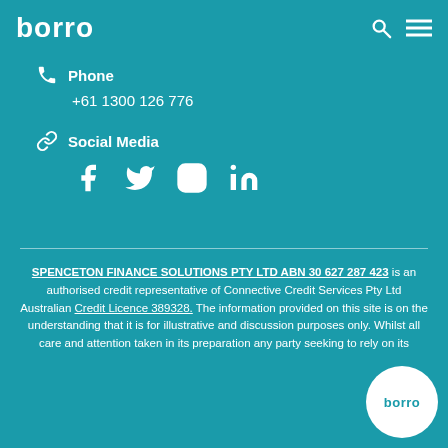borro
Phone
+61 1300 126 776
Social Media
SPENCETON FINANCE SOLUTIONS PTY LTD ABN 30 627 287 423 is an authorised credit representative of Connective Credit Services Pty Ltd Australian Credit Licence 389328. The information provided on this site is on the understanding that it is for illustrative and discussion purposes only. Whilst all care and attention taken in its preparation any party seeking to rely on its